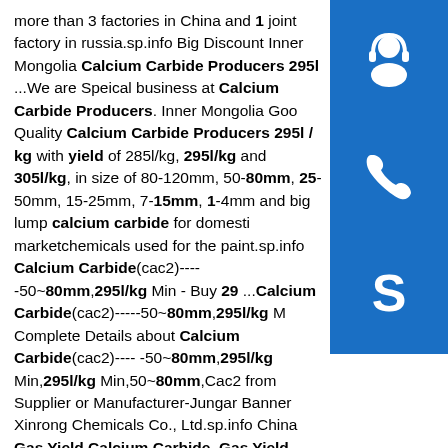more than 3 factories in China and 1 joint factory in russia.sp.info Big Discount Inner Mongolia Calcium Carbide Producers 295l ...We are Speical business at Calcium Carbide Producers. Inner Mongolia Good Quality Calcium Carbide Producers 295l / kg with yield of 285l/kg, 295l/kg and 305l/kg, in size of 80-120mm, 50-80mm, 25-50mm, 15-25mm, 7-15mm, 1-4mm and big lump calcium carbide for domestic marketchemicals used for the paint.sp.info Calcium Carbide(cac2)-----50~80mm,295l/kg Min - Buy 29 ...Calcium Carbide(cac2)-----50~80mm,295l/kg M Complete Details about Calcium Carbide(cac2)---- -50~80mm,295l/kg Min,295l/kg Min,50~80mm,Cac2 from Supplier or Manufacturer-Jungar Banner Xinrong Chemicals Co., Ltd.sp.info China Gas Yield Calcium Carbide, Gas Yield Calcium Carbide ...China Gas Yield Calcium Carbide manufacturers - Select 2020 high quality Gas Yield Calcium Carbide products in best price from certified Chinese Chemical manufacturers, China
[Figure (illustration): Blue square button with white headset/customer support icon]
[Figure (illustration): Blue square button with white phone icon]
[Figure (illustration): Blue square button with white Skype 'S' icon]